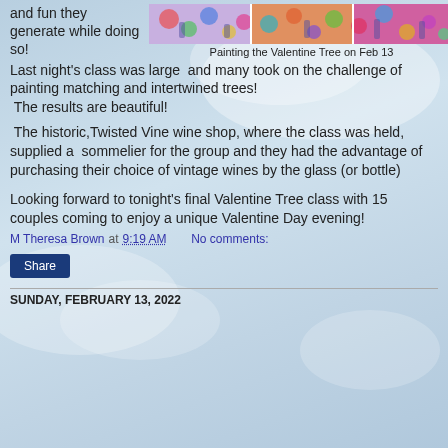and fun they generate while doing so!
[Figure (photo): Group photo strip showing people painting colorful Valentine Tree artworks at Twisted Vine wine shop on Feb 13]
Painting the Valentine Tree on Feb 13
Last night's class was large  and many took on the challenge of painting matching and intertwined trees!  The results are beautiful!
The historic,Twisted Vine wine shop, where the class was held, supplied a  sommelier for the group and they had the advantage of purchasing their choice of vintage wines by the glass (or bottle)
Looking forward to tonight's final Valentine Tree class with 15 couples coming to enjoy a unique Valentine Day evening!
M Theresa Brown at 9:19 AM    No comments:
Share
SUNDAY, FEBRUARY 13, 2022